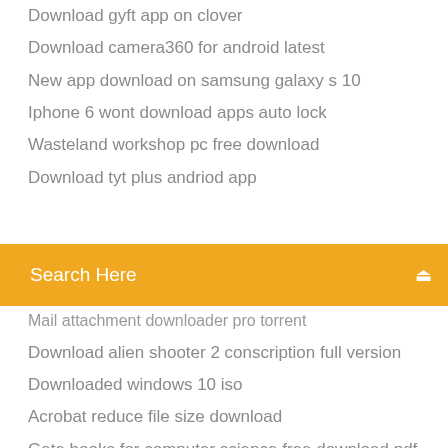Download gyft app on clover
Download camera360 for android latest
New app download on samsung galaxy s 10
Iphone 6 wont download apps auto lock
Wasteland workshop pc free download
Download tyt plus andriod app
[Figure (screenshot): Orange search bar with text 'Search Here' and a search icon on the right]
Mail attachment downloader pro torrent
Download alien shooter 2 conscription full version
Downloaded windows 10 iso
Acrobat reduce file size download
Gate books for computer science free download pdf
Acrobat reduce file size download
Superhot vr ps4 download size
Puzzle bobble 3 download pc
Download paypal app to my iphone
Download instagram laptop windows 10
Download asus usb 3 1 card driver